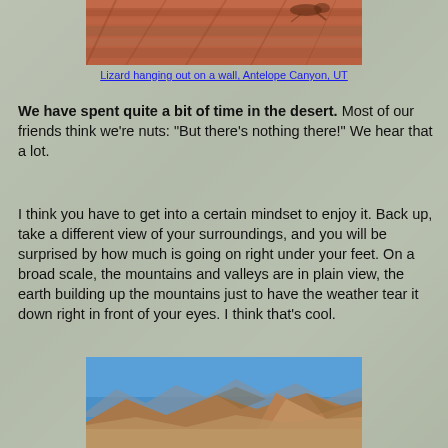[Figure (photo): Close-up photo of a lizard on a reddish-brown rock wall at Antelope Canyon, UT. Only partial/top portion visible.]
Lizard hanging out on a wall, Antelope Canyon, UT
We have spent quite a bit of time in the desert. Most of our friends think we're nuts: "But there's nothing there!" We hear that a lot.
I think you have to get into a certain mindset to enjoy it. Back up, take a different view of your surroundings, and you will be surprised by how much is going on right under your feet. On a broad scale, the mountains and valleys are in plain view, the earth building up the mountains just to have the weather tear it down right in front of your eyes. I think that's cool.
[Figure (photo): Landscape photo of desert mountains and valleys under a blue sky, showing rugged brown and tan terrain.]